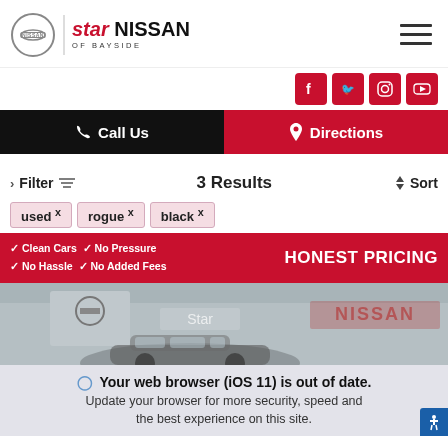Star Nissan of Bayside
Call Us | Directions
Filter  3 Results  Sort
used ×
rogue ×
black ×
✓ Clean Cars  ✓ No Pressure  ✓ No Hassle  ✓ No Added Fees  HONEST PRICING
[Figure (photo): Star Nissan dealership exterior building with signage, a car in the foreground]
Your web browser (iOS 11) is out of date. Update your browser for more security, speed and the best experience on this site.